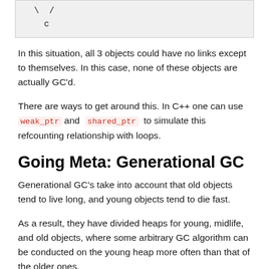[Figure (other): Code snippet showing backslash, forward slash, and letter c on separate lines in a gray box]
In this situation, all 3 objects could have no links except to themselves. In this case, none of these objects are actually GC'd.
There are ways to get around this. In C++ one can use weak_ptr and shared_ptr to simulate this refcounting relationship with loops.
Going Meta: Generational GC
Generational GC's take into account that old objects tend to live long, and young objects tend to die fast.
As a result, they have divided heaps for young, midlife, and old objects, where some arbitrary GC algorithm can be conducted on the young heap more often than that of the older ones.
In addition, when an object has lived in the young heap for long enough, it can be copied over to the older heaps.
Comprehensive comparison of